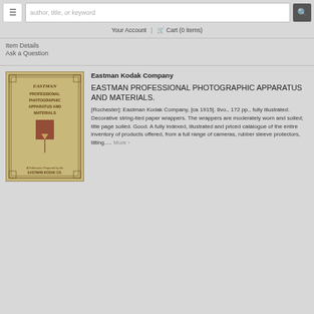≡  author, title, or keyword  🔍
Your Account  |  🛒 Cart (0 items)
Item Details
Ask a Question
[Figure (photo): Book cover: Eastman Professional Photographic Apparatus and Materials, tan/beige cover with decorative border, EASTMAN KODAK CO. at bottom]
Eastman Kodak Company
EASTMAN PROFESSIONAL PHOTOGRAPHIC APPARATUS AND MATERIALS.
[Rochester]: Eastman Kodak Company, [ca 1915]. 8vo., 172 pp., fully illustrated. Decorative string-tied paper wrappers. The wrappers are moderately worn and soiled; title page soiled. Good. A fully indexed, illustrated and priced catalogue of the entire inventory of products offered, from a full range of cameras, rubber sleeve protectors, tilting.....  More ›